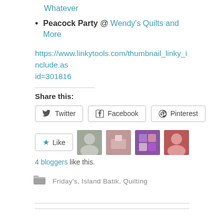Whatever
Peacock Party @ Wendy's Quilts and More
https://www.linkytools.com/thumbnail_linky_include.as id=301816
Share this:
Twitter  Facebook  Pinterest
Like  4 bloggers like this.
Friday's, Island Batik, Quilting